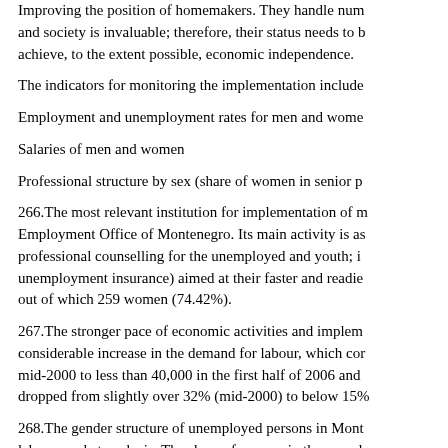Improving the position of homemakers. They handle num and society is invaluable; therefore, their status needs to b achieve, to the extent possible, economic independence.
The indicators for monitoring the implementation include
Employment and unemployment rates for men and wome
Salaries of men and women
Professional structure by sex (share of women in senior p
266.The most relevant institution for implementation of m Employment Office of Montenegro. Its main activity is as professional counselling for the unemployed and youth; i unemployment insurance) aimed at their faster and readie out of which 259 women (74.42%).
267.The stronger pace of economic activities and implem considerable increase in the demand for labour, which cor mid-2000 to less than 40,000 in the first half of 2006 and dropped from slightly over 32% (mid-2000) to below 15%
268.The gender structure of unemployed persons in Mont labour market analysis. The share of women in the overal